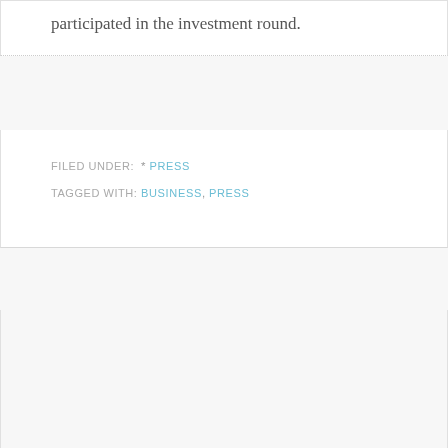participated in the investment round.
FILED UNDER: * PRESS
TAGGED WITH: BUSINESS, PRESS